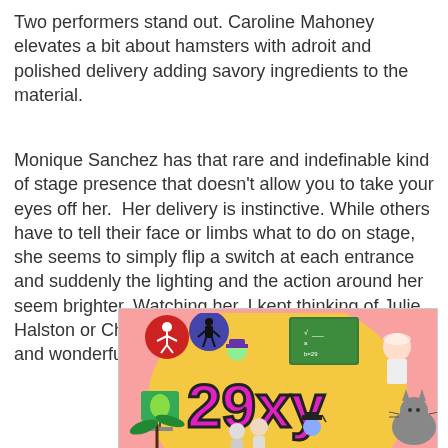Two performers stand out. Caroline Mahoney elevates a bit about hamsters with adroit and polished delivery adding savory ingredients to the material.
Monique Sanchez has that rare and indefinable kind of stage presence that doesn't allow you to take your eyes off her. Her delivery is instinctive. While others have to tell their face or limbs what to do on stage, she seems to simply flip a switch at each entrance and suddenly the lighting and the action around her seem brighter. Watching her, I kept thinking of Julie Halston or Christine Baranski. I hope she has a long and wonderful performing career.
[Figure (illustration): Colorful cartoon illustration with the text '29xy' in large pink/magenta letters, surrounded by various cartoon characters in a school/classroom setting with a chalkboard in the background. Pink background.]